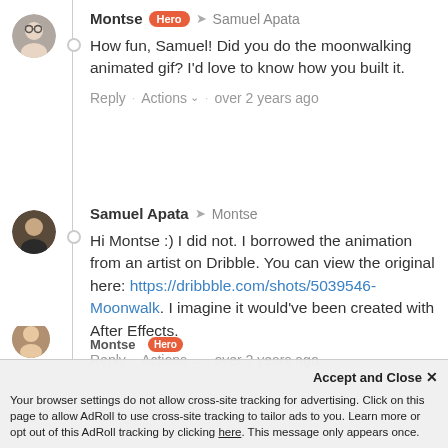[Figure (illustration): Avatar of Montse, a person wearing glasses, circular profile photo]
Montse Hero → Samuel Apata
How fun, Samuel! Did you do the moonwalking animated gif? I'd love to know how you built it.
Reply · Actions ▾ · over 2 years ago
[Figure (illustration): Avatar of Samuel Apata, a person wearing dark clothing, circular profile photo]
Samuel Apata → Montse
Hi Montse :) I did not. I borrowed the animation from an artist on Dribble. You can view the original here: https://dribbble.com/shots/5039546-Moonwalk. I imagine it would've been created with After Effects.
Reply · Actions ▾ · over 2 years ago
Your browser settings do not allow cross-site tracking for advertising. Click on this page to allow AdRoll to use cross-site tracking to tailor ads to you. Learn more or opt out of this AdRoll tracking by clicking here. This message only appears once.